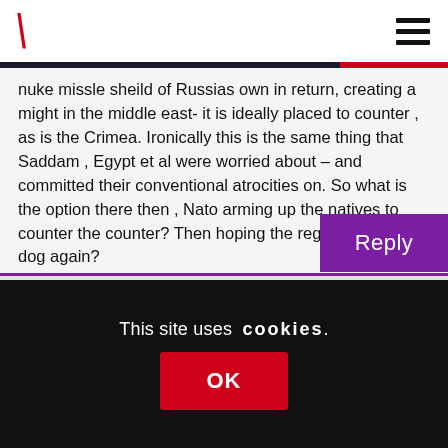\ [logo] [hamburger menu]
nuke missle sheild of Russias own in return, creating a might in the middle east- it is ideally placed to counter , as is the Crimea. Ironically this is the same thing that Saddam , Egypt et al were worried about – and committed their conventional atrocities on. So what is the option there then , Nato arming up the natives to counter the counter? Then hoping the regime isnt a mad dog again?
Reply
This site uses cookies.
OK